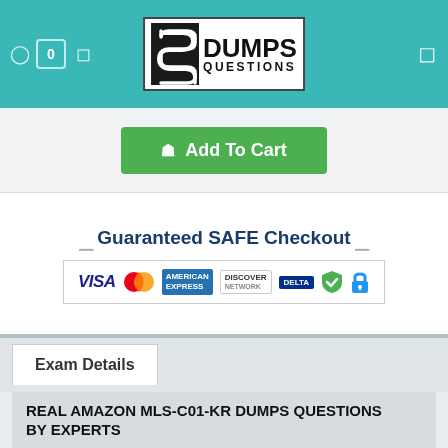DumpsQuestions - 0
[Figure (logo): SDumps Questions logo with stylized S icon in white on dark background, bold black text DUMPS QUESTIONS]
Add To Cart
[Figure (infographic): Guaranteed SAFE Checkout banner with VISA, MasterCard, American Express, Discover, Delta, checkmark shield, and lock icons]
Exam Details
REAL AMAZON MLS-C01-KR DUMPS QUESTIONS BY EXPERTS
1. If you are not sure of the quality of our AWS Certified Machine Learning - Specialty (MLS-C01 Korean Version) MLS-C01-KR product than you are free to download the Amazon MLS-C01-KR demo to verify your doubts
2. We provide MLS-C01-KR easy to understand and learn question so